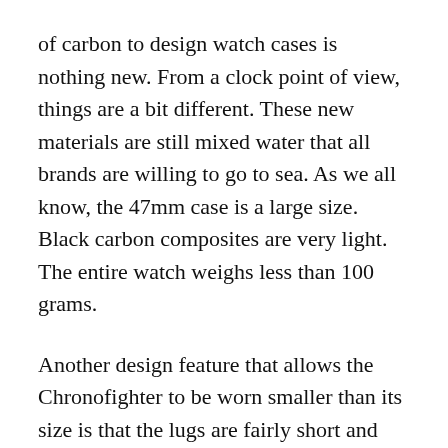of carbon to design watch cases is nothing new. From a clock point of view, things are a bit different. These new materials are still mixed water that all brands are willing to go to sea. As we all know, the 47mm case is a large size. Black carbon composites are very light. The entire watch weighs less than 100 grams.
Another design feature that allows the Chronofighter to be worn smaller than its size is that the lugs are fairly short and curved downwards. In addition, the crown and buttons are located on the left side, it will not pierce the wearer's wrist (of course, assuming that the watch is worn on the left wrist). The rubber strap is soft and pliable, which makes a great contribution to